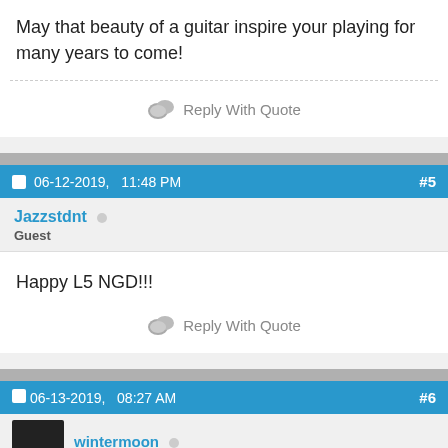May that beauty of a guitar inspire your playing for many years to come!
Reply With Quote
06-12-2019, 11:48 PM  #5
Jazzstdnt Guest
Happy L5 NGD!!!
Reply With Quote
06-13-2019, 08:27 AM  #6
wintermoon